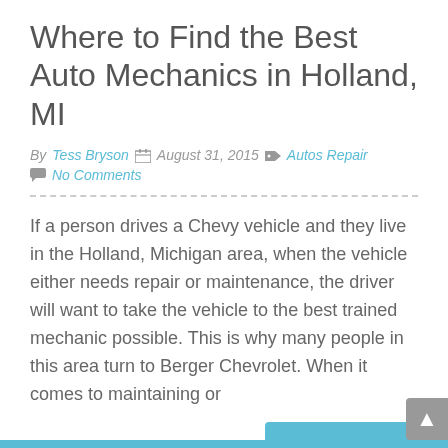Where to Find the Best Auto Mechanics in Holland, MI
By Tess Bryson  August 31, 2015  Autos Repair  No Comments
If a person drives a Chevy vehicle and they live in the Holland, Michigan area, when the vehicle either needs repair or maintenance, the driver will want to take the vehicle to the best trained mechanic possible. This is why many people in this area turn to Berger Chevrolet. When it comes to maintaining or
Read More